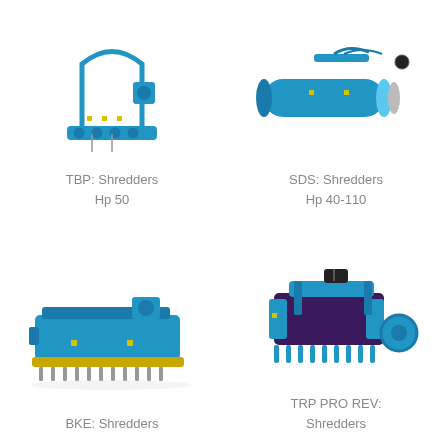[Figure (photo): Blue TBP Shredder agricultural machine with arched frame and roller, side view]
TBP: Shredders
Hp 50
[Figure (photo): Blue SDS Shredder cylindrical drum agricultural machine with mechanical arm, side view]
SDS: Shredders
Hp 40-110
[Figure (photo): Blue BKE Shredder wide flail mower agricultural machine, front-angle view]
BKE: Shredders
[Figure (photo): Blue TRP PRO REV Shredder agricultural machine with tines and roller, angled view]
TRP PRO REV:
Shredders